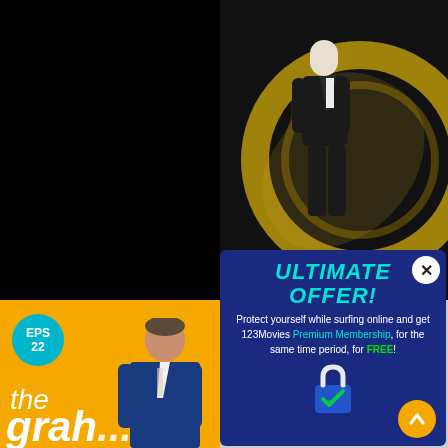[Figure (screenshot): Dark/black panel on the left side of the screen, likely a video player with no content loaded]
[Figure (photo): James Bond 007 movie poster showing a man in a suit with gun barrel imagery and 007 logo]
The Gunn...
[Figure (photo): Graham Norton Show episode 22 thumbnail with yellow background, EPS 22 badge, host standing in blue suit, 'the' and partial 'grah' text]
[Figure (infographic): Popup advertisement overlay with dark blue background showing ULTIMATE OFFER! promotion for 123Movies Premium Membership with VPN, lock icon with checkmark, close button, and scroll-up button]